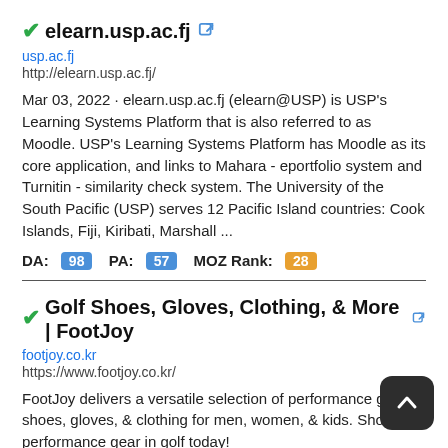elearn.usp.ac.fj
usp.ac.fj
http://elearn.usp.ac.fj/
Mar 03, 2022 · elearn.usp.ac.fj (elearn@USP) is USP's Learning Systems Platform that is also referred to as Moodle. USP's Learning Systems Platform has Moodle as its core application, and links to Mahara - eportfolio system and Turnitin - similarity check system. The University of the South Pacific (USP) serves 12 Pacific Island countries: Cook Islands, Fiji, Kiribati, Marshall ...
DA: 98  PA: 57  MOZ Rank: 28
Golf Shoes, Gloves, Clothing, & More | FootJoy
footjoy.co.kr
https://www.footjoy.co.kr/
FootJoy delivers a versatile selection of performance golf shoes, gloves, & clothing for men, women, & kids. Shop best performance gear in golf today!
DA: 2  PA: 31  MOZ Rank: 1